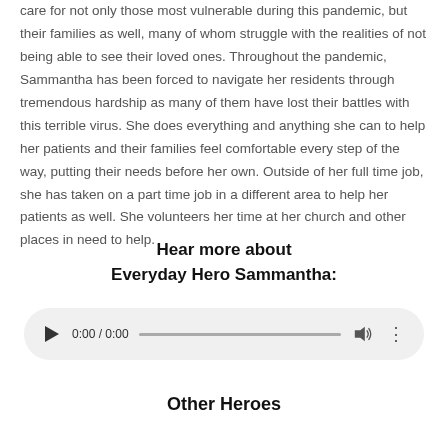care for not only those most vulnerable during this pandemic, but their families as well, many of whom struggle with the realities of not being able to see their loved ones. Throughout the pandemic, Sammantha has been forced to navigate her residents through tremendous hardship as many of them have lost their battles with this terrible virus. She does everything and anything she can to help her patients and their families feel comfortable every step of the way, putting their needs before her own. Outside of her full time job, she has taken on a part time job in a different area to help her patients as well. She volunteers her time at her church and other places in need to help.
Hear more about Everyday Hero Sammantha:
[Figure (other): Audio player widget showing 0:00 / 0:00 with play button, progress bar, volume icon, and options icon]
Other Heroes